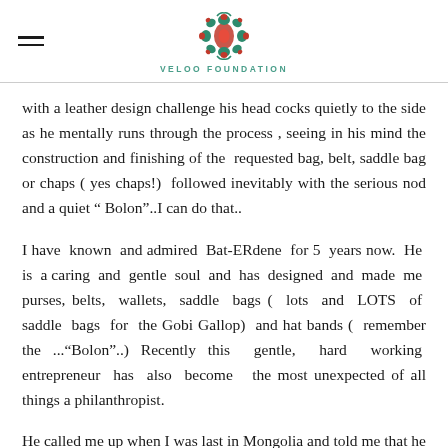VELOO FOUNDATION
with a leather design challenge his head cocks quietly to the side as he mentally runs through the process , seeing in his mind the construction and finishing of the  requested bag, belt, saddle bag or chaps ( yes chaps!)  followed inevitably with the serious nod and a quiet " Bolon"..I can do that..
I have  known  and admired  Bat-ERdene  for 5  years now.  He  is  a caring  and  gentle  soul  and  has  designed  and  made  me  purses, belts,  wallets,  saddle  bags (  lots  and  LOTS  of  saddle  bags  for  the Gobi Gallop)  and hat bands (  remember the ..."Bolon"..) Recently this  gentle,  hard  working  entrepreneur  has  also  become   the most unexpected of all things a philanthropist.
He called me up when I was last in Mongolia and told me that he was  dissolving  his  NGO  which  had  been  his  way  of  helping  his fellow  handicapped  people  and   being  an  engine  for  positive change in the community. Instead he was going to become a for-